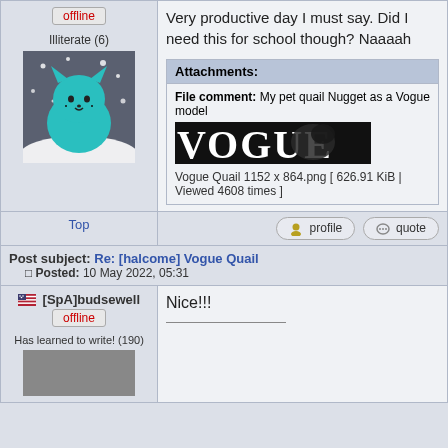[Figure (screenshot): Forum post layout showing user column with offline button, rank 'Illiterate (6)', avatar of teal cat, and post content about learning Photoshop with Vogue Quail attachment]
Very productive day I must say. Did I need this for school though? Naaaah
Attachments: File comment: My pet quail Nugget as a Vogue model
[Figure (photo): Vogue magazine cover style image with VOGUE text and a bird (quail)]
Vogue Quail 1152 x 864.png [ 626.91 KiB | Viewed 4608 times ]
Top
profile   quote
Post subject: Re: [halcome] Vogue Quail   Posted: 10 May 2022, 05:31
[SpA]budsewell
offline
Has learned to write! (190)
Nice!!!